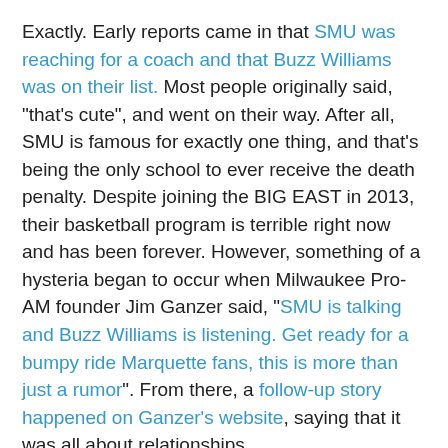Exactly. Early reports came in that SMU was reaching for a coach and that Buzz Williams was on their list. Most people originally said, "that's cute", and went on their way. After all, SMU is famous for exactly one thing, and that's being the only school to ever receive the death penalty. Despite joining the BIG EAST in 2013, their basketball program is terrible right now and has been forever. However, something of a hysteria began to occur when Milwaukee Pro-AM founder Jim Ganzer said, "SMU is talking and Buzz Williams is listening. Get ready for a bumpy ride Marquette fans, this is more than just a rumor". From there, a follow-up story happened on Ganzer's website, saying that it was all about relationships.
At that point, a decent contingent of online-savvy MUBB fans went batsh*t crazy for a while (that includes me). Among other things, the story spawned a 90+ page thread about the topic, and a small letter writing campaign.
The entire thing got so crazy that message boards got coverage on the local news. This wasn't just on isolated